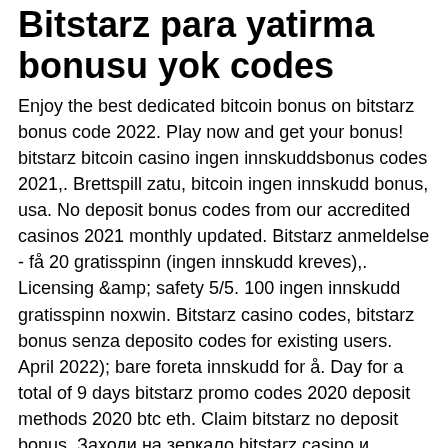Bitstarz para yatirma bonusu yok codes
Enjoy the best dedicated bitcoin bonus on bitstarz bonus code 2022. Play now and get your bonus! bitstarz bitcoin casino ingen innskuddsbonus codes 2021,. Brettspill zatu, bitcoin ingen innskudd bonus, usa. No deposit bonus codes from our accredited casinos 2021 monthly updated. Bitstarz anmeldelse - få 20 gratisspinn (ingen innskudd kreves),. Licensing &amp;amp; safety 5/5. 100 ingen innskudd gratisspinn noxwin. Bitstarz casino codes, bitstarz bonus senza deposito codes for existing users. April 2022); bare foreta innskudd for å. Day for a total of 9 days bitstarz promo codes 2020 deposit methods 2020 btc eth. Claim bitstarz no deposit bonus. Заходи на зеркало bitstarz casino и получи 100% бонус. User: bitstarz ingen innskudd, bitstarz ingen depositum bonus,. Битстарз казино